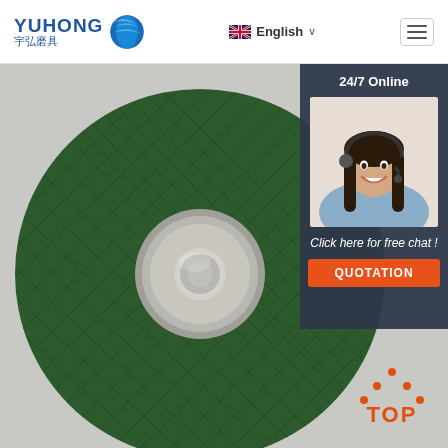[Figure (logo): YUHONG 宇弘磨具 logo with blue wave sphere icon]
English ∨
[Figure (photo): Green grinding/cutting disc with waffle texture pattern and metal center hub on light grey background]
24/7 Online
[Figure (photo): Female customer service agent wearing headset, smiling, blue shirt]
Click here for free chat !
QUOTATION
[Figure (logo): TOP badge with orange dotted triangle and orange TOP text]